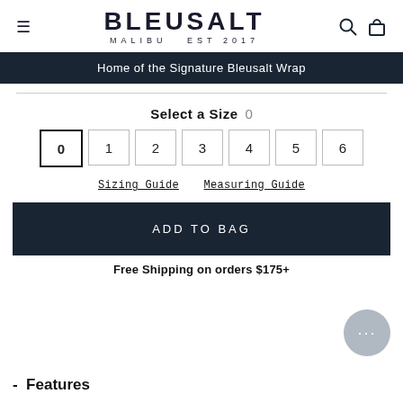BLEUSALT MALIBU EST 2017
Home of the Signature Bleusalt Wrap
Select a Size  0
0  1  2  3  4  5  6
Sizing Guide   Measuring Guide
ADD TO BAG
Free Shipping on orders $175+
- Features